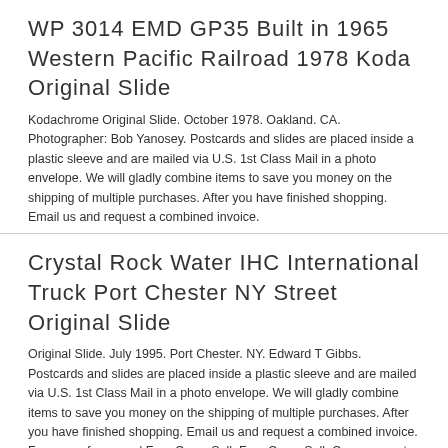WP 3014 EMD GP35 Built in 1965 Western Pacific Railroad 1978 Koda Original Slide
Kodachrome Original Slide. October 1978. Oakland. CA. Photographer: Bob Yanosey. Postcards and slides are placed inside a plastic sleeve and are mailed via U.S. 1st Class Mail in a photo envelope. We will gladly combine items to save you money on the shipping of multiple purchases. After you have finished shopping. Email us and request a combined invoice.
Crystal Rock Water IHC International Truck Port Chester NY Street Original Slide
Original Slide. July 1995. Port Chester. NY. Edward T Gibbs. Postcards and slides are placed inside a plastic sleeve and are mailed via U.S. 1st Class Mail in a photo envelope. We will gladly combine items to save you money on the shipping of multiple purchases. After you have finished shopping. Email us and request a combined invoice. Froo www.froo.com | Froo Cross Sell. Free Cross Sell, Cross promote, eBay Marketing, eBay listing Apps, eBay Apps, eBay Application.
FedEx Federal Express Truck Tractor Trailer New York City Street Original